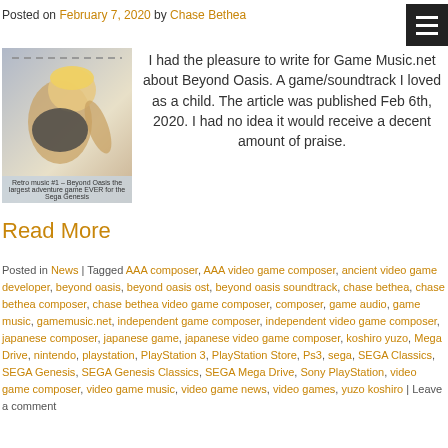Posted on February 7, 2020 by Chase Bethea
[Figure (illustration): Game artwork image with caption: Retro music #1 – Beyond Oasis the largest adventure game EVER for the Sega Genesis]
I had the pleasure to write for Game Music.net about Beyond Oasis. A game/soundtrack I loved as a child. The article was published Feb 6th, 2020. I had no idea it would receive a decent amount of praise.
Read More
Posted in News | Tagged AAA composer, AAA video game composer, ancient video game developer, beyond oasis, beyond oasis ost, beyond oasis soundtrack, chase bethea, chase bethea composer, chase bethea video game composer, composer, game audio, game music, gamemusic.net, independent game composer, independent video game composer, japanese composer, japanese game, japanese video game composer, koshiro yuzo, Mega Drive, nintendo, playstation, PlayStation 3, PlayStation Store, Ps3, sega, SEGA Classics, SEGA Genesis, SEGA Genesis Classics, SEGA Mega Drive, Sony PlayStation, video game composer, video game music, video game news, video games, yuzo koshiro | Leave a comment